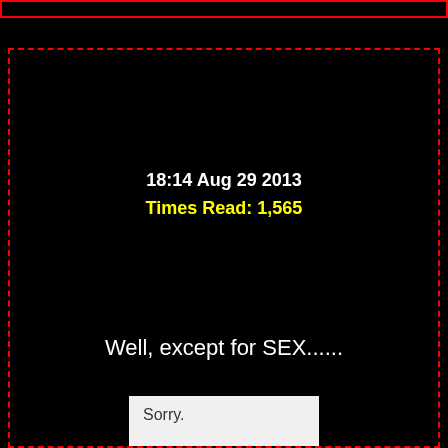18:14 Aug 29 2013
Times Read: 1,565
Well, except for SEX......
Sorry.